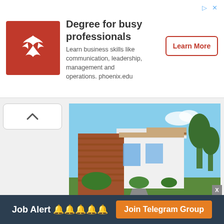[Figure (logo): University of Phoenix red logo with white phoenix bird]
Degree for busy professionals
Learn business skills like communication, leadership, management and operations. phoenix.edu
[Figure (photo): Modern house with wood and white exterior, blue sky background]
Apply in less than 5 minutes
Ad Stormfield Capital, LLC
Open
Job Alert 🔔🔔🔔🔔🔔 Join Telegram Group